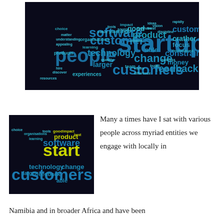[Figure (infographic): Word cloud on dark background featuring startup-related terms: startups, customers, people, software, technology, change, product, feedback, able, money, constrained, customer, development, organisations, learning, larger, experiences, choice, tools, good, impact, vision, discipline, focus, techniques, crather, graham, planning, venture, team, quality, difference, visitor, build, hire, discover, resources, products, appealing, understanding, matter, value, source, rapidly, ideas, best, customer]
[Figure (infographic): Smaller word cloud on dark background with same startup-related terms, featuring customers, startups, software, technology, change, product, feedback, able, development, organisations, learning, larger in teal and yellow-green colors]
Many a times have I sat with various people across myriad entities we engage with locally in
Namibia and in broader Africa and have been